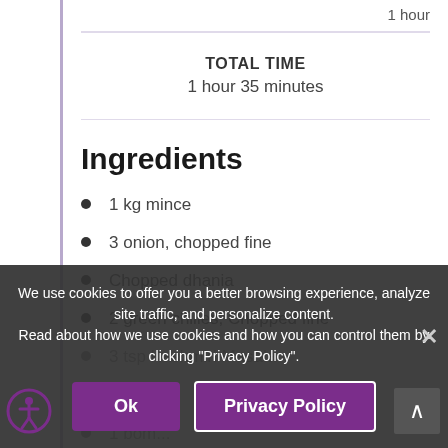1 hour
TOTAL TIME
1 hour 35 minutes
Ingredients
1 kg mince
3 onion, chopped fine
Chopped dhania
2 green chilies, Chopped fine
3 tsp Kashmiri Masala
½ tsp ...
1 tbs... and something
salt ...
We use cookies to offer you a better browsing experience, analyze site traffic, and personalize content.
Read about how we use cookies and how you can control them by clicking "Privacy Policy".